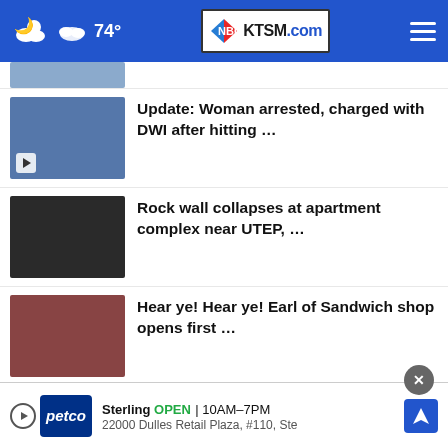74° KTSM.com
Update: Woman arrested, charged with DWI after hitting …
Rock wall collapses at apartment complex near UTEP, …
Hear ye! Hear ye! Earl of Sandwich shop opens first …
Mother of femicide victim: 'They gave me my daughter …
Trade council wants to bring back manufacturing to …
struggles with leaking …
Sterling OPEN | 10AM–7PM 22000 Dulles Retail Plaza, #110, Ste